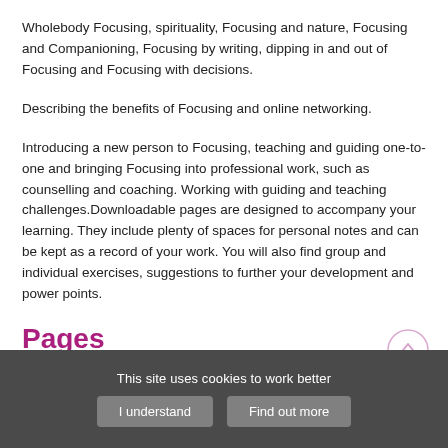Wholebody Focusing, spirituality, Focusing and nature, Focusing and Companioning, Focusing by writing, dipping in and out of Focusing and Focusing with decisions.
Describing the benefits of Focusing and online networking.
Introducing a new person to Focusing, teaching and guiding one-to-one and bringing Focusing into professional work, such as counselling and coaching. Working with guiding and teaching challenges.Downloadable pages are designed to accompany your learning. They include plenty of spaces for personal notes and can be kept as a record of your work. You will also find group and individual exercises, suggestions to further your development and power points.
Pages
Downloadable pages are designed to accompany your learning. They include plenty of spaces for personal notes and can be kept
This site uses cookies to work better